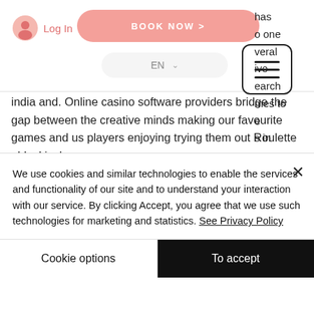[Figure (screenshot): Navigation bar with user login icon, pink BOOK NOW button, EN language selector dropdown, and hamburger menu icon]
has o one veral ive earch mes to e s in india and. Online casino software providers bridge the gap between the creative minds making our favourite games and us players enjoying trying them out Roulette · blackjack
We use cookies and similar technologies to enable the services and functionality of our site and to understand your interaction with our service. By clicking Accept, you agree that we use such technologies for marketing and statistics. See Privacy Policy
Cookie options
To accept